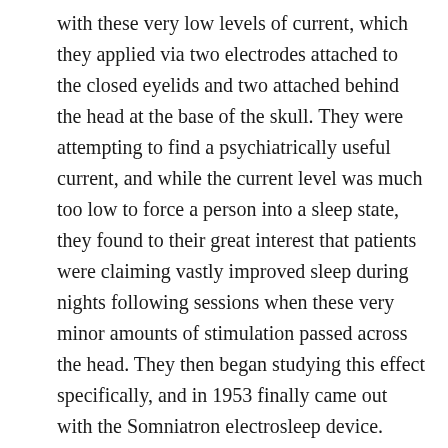with these very low levels of current, which they applied via two electrodes attached to the closed eyelids and two attached behind the head at the base of the skull. They were attempting to find a psychiatrically useful current, and while the current level was much too low to force a person into a sleep state, they found to their great interest that patients were claiming vastly improved sleep during nights following sessions when these very minor amounts of stimulation passed across the head. They then began studying this effect specifically, and in 1953 finally came out with the Somniatron electrosleep device.
Several similar devices were later manufactured in the U.S. for research purposes, and their clinical use began among inpatient and outpatient psychiatric patients, usually in University Teaching Hospitals. Several other Universities began research with animals in an effort to see if CES really did change how the brain functioned, if it was safe to use, and what the mechanism of action might be.